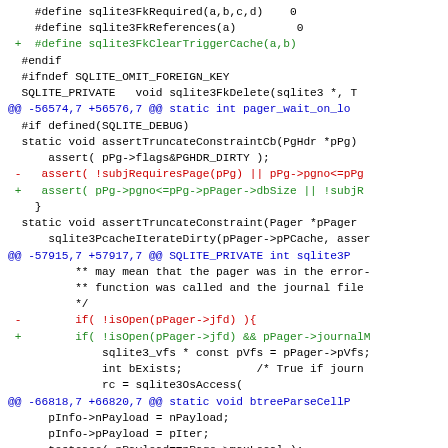[Figure (screenshot): Code diff showing SQLite source changes with black, green, red, and blue colored lines representing context, additions, deletions, and diff headers respectively.]